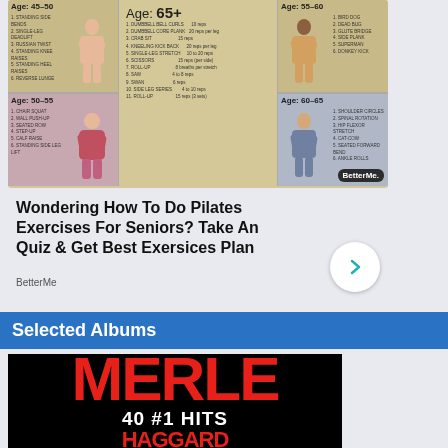[Figure (infographic): BetterMe fitness advertisement showing pilates exercises for seniors across different age groups (45-50, 50-55, 55-60, 60-65, 65+) with illustrated figures and exercise lists]
Wondering How To Do Pilates Exercises For Seniors? Take An Quiz & Get Best Exersices Plan
BetterMe
Selected Albums
[Figure (illustration): Album cover for Merle Haggard showing red text 'MERLE' in large bold letters, subtitle '40 #1 HITS' in white, with red and black bottom text partially visible, on black background]